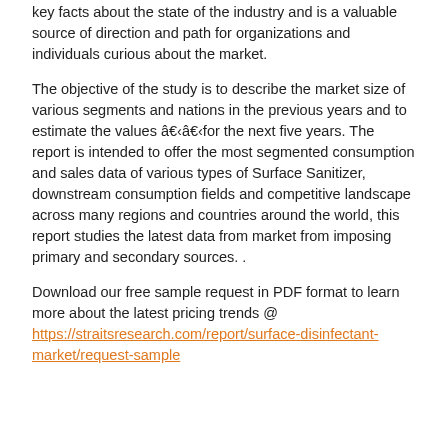key facts about the state of the industry and is a valuable source of direction and path for organizations and individuals curious about the market.
The objective of the study is to describe the market size of various segments and nations in the previous years and to estimate the values â€‹â€‹for the next five years. The report is intended to offer the most segmented consumption and sales data of various types of Surface Sanitizer, downstream consumption fields and competitive landscape across many regions and countries around the world, this report studies the latest data from market from imposing primary and secondary sources. .
Download our free sample request in PDF format to learn more about the latest pricing trends @ https://straitsresearch.com/report/surface-disinfectant-market/request-sample